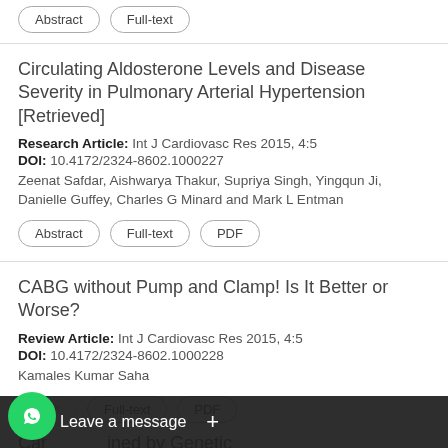Abstract | Full-text
Circulating Aldosterone Levels and Disease Severity in Pulmonary Arterial Hypertension [Retrieved]
Research Article: Int J Cardiovasc Res 2015, 4:5
DOI: 10.4172/2324-8602.1000227
Zeenat Safdar, Aishwarya Thakur, Supriya Singh, Yingqun Ji, Danielle Guffey, Charles G Minard and Mark L Entman
Abstract | Full-text | PDF
CABG without Pump and Clamp! Is It Better or Worse?
Review Article: Int J Cardiovasc Res 2015, 4:5
DOI: 10.4172/2324-8602.1000228
Kamales Kumar Saha
Abstract | Full-text | PDF
Car... [partially visible] ...ined by Genetic
Leave a message +